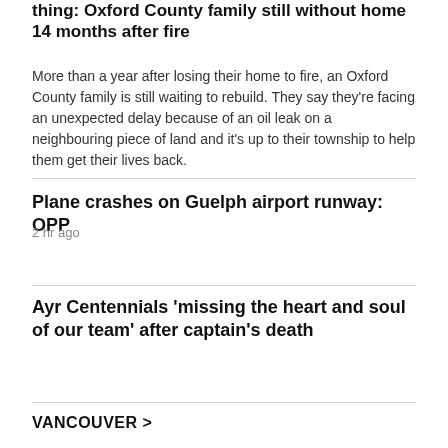thing: Oxford County family still without home 14 months after fire
More than a year after losing their home to fire, an Oxford County family is still waiting to rebuild. They say they're facing an unexpected delay because of an oil leak on a neighbouring piece of land and it's up to their township to help them get their lives back.
Plane crashes on Guelph airport runway: OPP
2 hr ago
Ayr Centennials 'missing the heart and soul of our team' after captain's death
VANCOUVER >